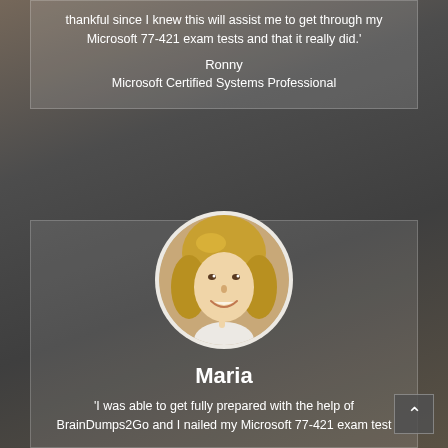thankful since I knew this will assist me to get through my Microsoft 77-421 exam tests and that it really did.'
Ronny
Microsoft Certified Systems Professional
[Figure (photo): Circular portrait photo of a smiling blonde woman (Maria)]
Maria
'I was able to get fully prepared with the help of BrainDumps2Go and I nailed my Microsoft 77-421 exam test